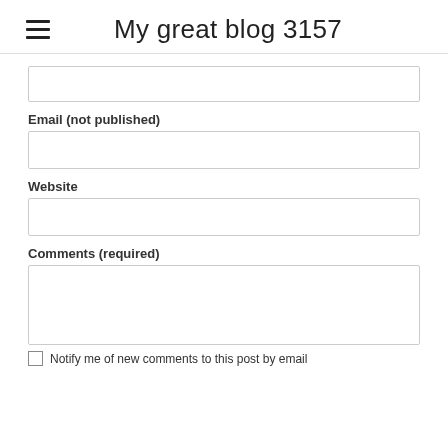My great blog 3157
Email (not published)
Website
Comments (required)
Notify me of new comments to this post by email